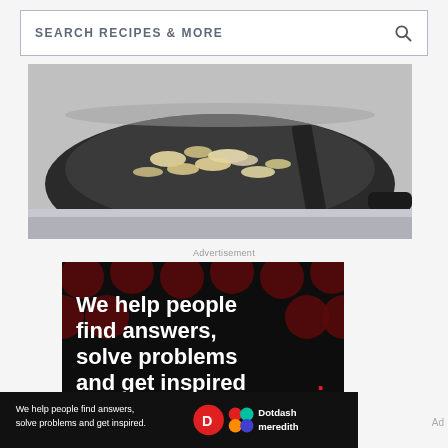[Figure (screenshot): Search bar with text SEARCH RECIPES & MORE and a search icon on the right]
[Figure (photo): Close-up photo of diced onions being sauteed in a dark pan on a stovetop]
Advertisement
[Figure (infographic): Dark advertisement banner with dark red polka dots background. White bold text: We help people find answers, solve problems and get inspired. Red period at end. LEARN MORE with arrow. Dotdash and Meredith logos at bottom.]
[Figure (infographic): Sticky bottom bar: We help people find answers, solve problems and get inspired. D logo and Dotdash meredith logo and text.]
Ad